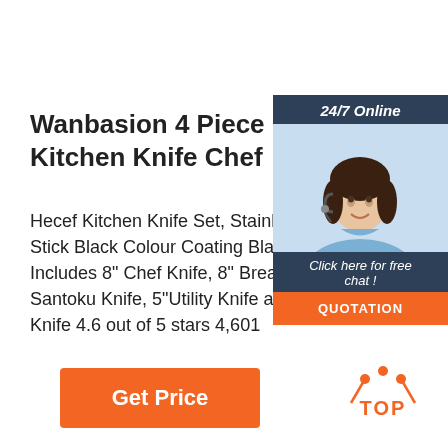Wanbasion 4 Piece Blue Professional Kitchen Knife Chef
Hecef Kitchen Knife Set, Stainless Steel Non Stick Black Colour Coating Blade Knife Set, Includes 8" Chef Knife, 8" Bread Knife, 7" Santoku Knife, 5"Utility Knife and 3.5" Paring Knife 4.6 out of 5 stars 4,601
[Figure (other): Chat widget with '24/7 Online' header, photo of customer service agent, 'Click here for free chat!' text, and orange QUOTATION button]
Get Price
[Figure (logo): TOP logo with orange dotted arc above the word TOP in orange]